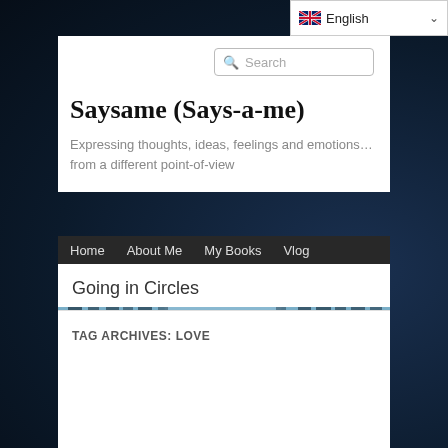English
Search
Saysame (Says-a-me)
Expressing thoughts, ideas, feelings and emotions… from a different point-of-view
[Figure (photo): Wolf silhouette howling on rocks in a misty blue forest at night]
Home   About Me   My Books   Vlog
Going in Circles
TAG ARCHIVES: LOVE